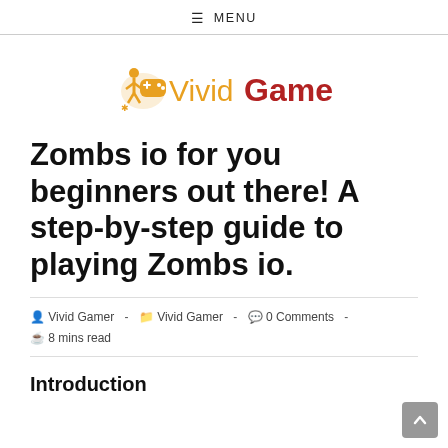☰ MENU
[Figure (logo): VividGamer logo with orange game controller icon and text 'Vivid' in orange and 'Gamer' in dark red bold]
Zombs io for you beginners out there! A step-by-step guide to playing Zombs io.
Vivid Gamer  -  Vivid Gamer  -  0 Comments  -  8 mins read
Introduction